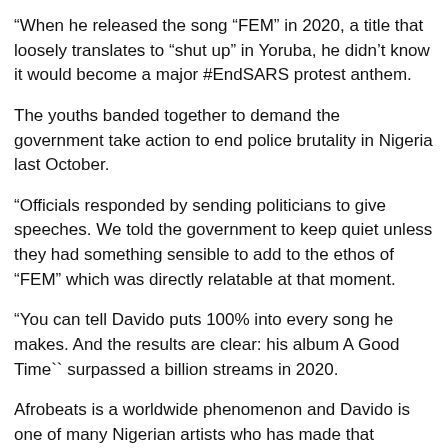“When he released the song “FEM” in 2020, a title that loosely translates to “shut up” in Yoruba, he didn’t know it would become a major #EndSARS protest anthem.
The youths banded together to demand the government take action to end police brutality in Nigeria last October.
“Officials responded by sending politicians to give speeches. We told the government to keep quiet unless they had something sensible to add to the ethos of “FEM” which was directly relatable at that moment.
“You can tell Davido puts 100% into every song he makes. And the results are clear: his album A Good Time`` surpassed a billion streams in 2020.
Afrobeats is a worldwide phenomenon and Davido is one of many Nigerian artists who has made that possible.”
More and more artists, from Nicki Minaj to Young Thug, want to work with him.